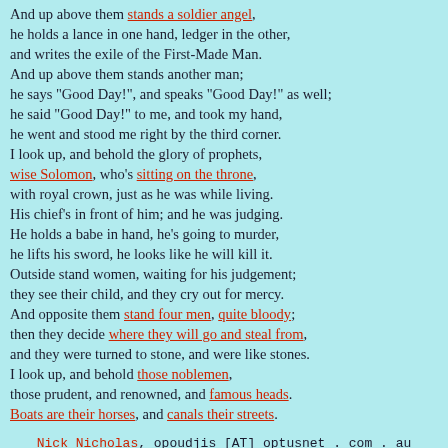And up above them stands a soldier angel,
he holds a lance in one hand, ledger in the other,
and writes the exile of the First-Made Man.
And up above them stands another man;
he says "Good Day!", and speaks "Good Day!" as well;
he said "Good Day!" to me, and took my hand,
he went and stood me right by the third corner.
I look up, and behold the glory of prophets,
wise Solomon, who's sitting on the throne,
with royal crown, just as he was while living.
His chief's in front of him; and he was judging.
He holds a babe in hand, he's going to murder,
he lifts his sword, he looks like he will kill it.
Outside stand women, waiting for his judgement;
they see their child, and they cry out for mercy.
And opposite them stand four men, quite bloody;
then they decide where they will go and steal from,
and they were turned to stone, and were like stones.
I look up, and behold those noblemen,
those prudent, and renowned, and famous heads.
Boats are their horses, and canals their streets.
Nick Nicholas, opoudjis [AT] optusnet . com . au
Created: 2001-9-15; Last revision: 2001-10-6
URL: http://www.opoudjis.net/Play/venice.html